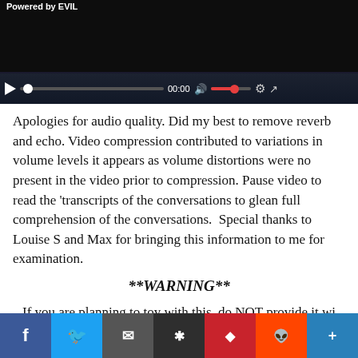[Figure (screenshot): Video player with dark background showing controls bar with play button, progress bar, timestamp 00:00, volume control, settings and fullscreen icons. Top label reads 'Powered by EVIL'.]
Apologies for audio quality. Did my best to remove reverb and echo. Video compression contributed to variations in volume levels it appears as volume distortions were not present in the video prior to compression. Pause video to read the 'transcripts of the conversations to glean full comprehension of the conversations.  Special thanks to Louise S and Max for bringing this information to me for examination.
**WARNING**
If you are planning to toy with this, do NOT provide it with information it requests. It is there to collect information, do not facilitate this.hold click/no, assist it